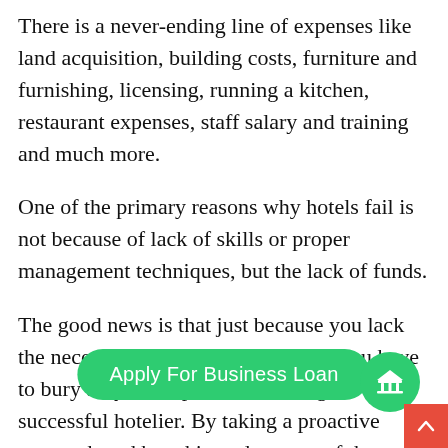There is a never-ending line of expenses like land acquisition, building costs, furniture and furnishing, licensing, running a kitchen, restaurant expenses, staff salary and training and much more.
One of the primary reasons why hotels fail is not because of lack of skills or proper management techniques, but the lack of funds.
The good news is that just because you lack the necessary funds, it doesn't mean you have to bury all your hopes of becoming a successful hotelier. By taking a proactive approach and by taking advantage of the several types of business loan [Apply For Business Loan] make your entrepreneurial dreams come true.